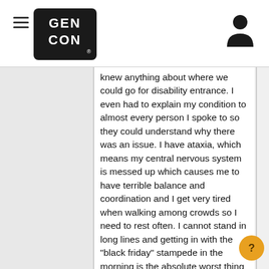Gen Con navigation header with hamburger menu, Gen Con logo, and user icon
knew anything about where we could go for disability entrance. I even had to explain my condition to almost every person I spoke to so they could understand why there was an issue. I have ataxia, which means my central nervous system is messed up which causes me to have terrible balance and coordination and I get very tired when walking among crowds so I need to rest often. I cannot stand in long lines and getting in with the "black friday" stampede in the morning is the absolute worst thing for me as one of the biggest issues is keeping my balance when people are running around me pushing to get by.  On the first day they let us in an hour early and that was the only day I was able to walk freely without worry I would get trample. Thge exhibitors had no instructions on handling disability badges (at pax they do not make you wait in long lines and have